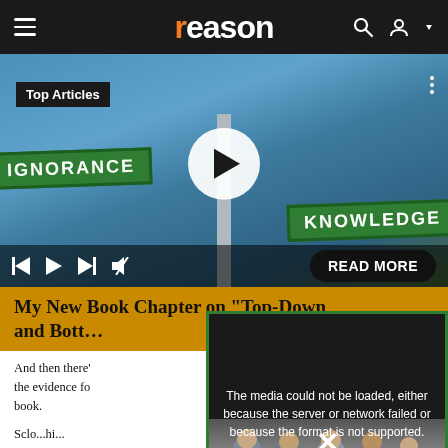reason
[Figure (screenshot): Video player showing street signs 'IGNORANCE' and 'KNOWLEDGE' at an intersection, with a play button overlay, video controls, Top Articles label, and a 'READ MORE' button. An error popup overlay shows 'The media could not be loaded, either because the server or network failed or because the format is not supported.' with an X button and a Bloomberg-branded photo of people.]
My New Book Chapter on "Top-Down and Bott...
And then there' ... a Political Power ... the evidence fo... book.
Sclo...hi...hi... to...co...hi...to...hi...